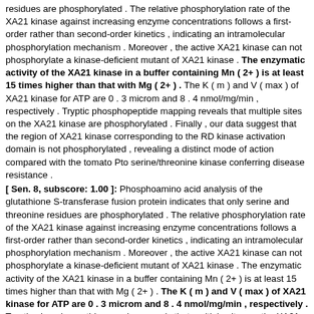residues are phosphorylated . The relative phosphorylation rate of the XA21 kinase against increasing enzyme concentrations follows a first-order rather than second-order kinetics , indicating an intramolecular phosphorylation mechanism . Moreover , the active XA21 kinase can not phosphorylate a kinase-deficient mutant of XA21 kinase . The enzymatic activity of the XA21 kinase in a buffer containing Mn ( 2+ ) is at least 15 times higher than that with Mg ( 2+ ) . The K ( m ) and V ( max ) of XA21 kinase for ATP are 0 . 3 microm and 8 . 4 nmol/mg/min , respectively . Tryptic phosphopeptide mapping reveals that multiple sites on the XA21 kinase are phosphorylated . Finally , our data suggest that the region of XA21 kinase corresponding to the RD kinase activation domain is not phosphorylated , revealing a distinct mode of action compared with the tomato Pto serine/threonine kinase conferring disease resistance .
[ Sen. 8, subscore: 1.00 ]: Phosphoamino acid analysis of the glutathione S-transferase fusion protein indicates that only serine and threonine residues are phosphorylated . The relative phosphorylation rate of the XA21 kinase against increasing enzyme concentrations follows a first-order rather than second-order kinetics , indicating an intramolecular phosphorylation mechanism . Moreover , the active XA21 kinase can not phosphorylate a kinase-deficient mutant of XA21 kinase . The enzymatic activity of the XA21 kinase in a buffer containing Mn ( 2+ ) is at least 15 times higher than that with Mg ( 2+ ) . The K ( m ) and V ( max ) of XA21 kinase for ATP are 0 . 3 microm and 8 . 4 nmol/mg/min , respectively . Tryptic phosphopeptide mapping reveals that multiple sites on the XA21 kinase are phosphorylated . Finally , our data suggest that the region of XA21 kinase corresponding to the RD kinase activation domain is not phosphorylated , revealing a distinct mode of action compared with the tomato Pto serine/threonine kinase conferring disease resistance .
[ Sen. 9, subscore: 1.00 ]: The relative phosphorylation rate of the